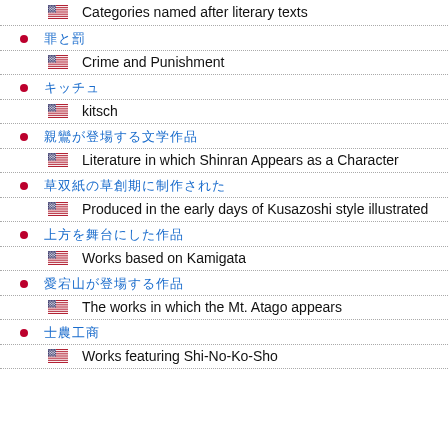Categories named after literary texts
罪と罰 / Crime and Punishment
キッチュ / kitsch
親鸞が登場する文学作品 / Literature in which Shinran Appears as a Character
草双紙の草創期に制作された / Produced in the early days of Kusazoshi style illustrated
上方を舞台にした作品 / Works based on Kamigata
愛宕山が登場する作品 / The works in which the Mt. Atago appears
士農工商 / Works featuring Shi-No-Ko-Sho